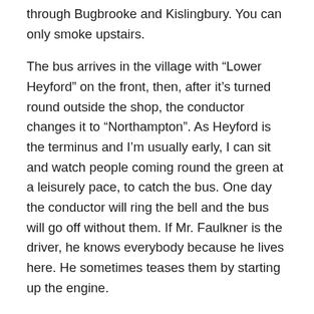through Bugbrooke and Kislingbury. You can only smoke upstairs.
The bus arrives in the village with “Lower Heyford” on the front, then, after it’s turned round outside the shop, the conductor changes it to “Northampton”. As Heyford is the terminus and I’m usually early, I can sit and watch people coming round the green at a leisurely pace, to catch the bus. One day the conductor will ring the bell and the bus will go off without them. If Mr. Faulkner is the driver, he knows everybody because he lives here. He sometimes teases them by starting up the engine.
Dad bought me a season bus ticket so that I can